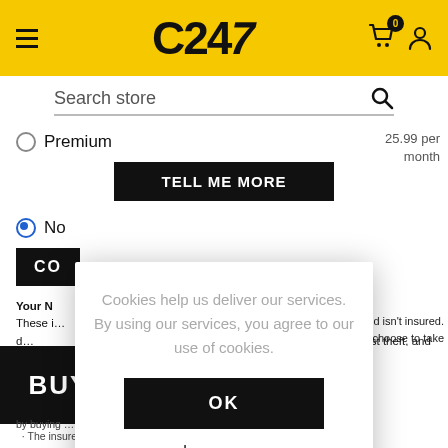C247 — store header with menu, logo, cart (0), and user icon
Search store
Premium
£9.99  25.99 per month
TELL ME MORE
No
CO
Your N
These i…er their d…ndard cover also includes protection against theft, and our Premium cover against both loss and theft. This has not been personalised to you.
nd isn't insured. you choose to take
[Figure (screenshot): Cookie consent modal overlay with text and OK button]
Cookies help us deliver our services. By using our services, you agree to our use of cookies.
OK
Learn more
BUY NOW   £679.00
by buying … you agree:
· The insurer meets your demands and needs